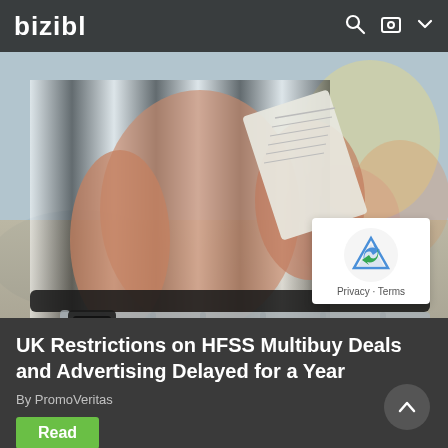bizibl
[Figure (photo): Close-up photo of a person in a striped outfit holding a receipt/paper while pushing a shopping cart in a supermarket, with blurred colorful background]
[Figure (other): reCAPTCHA widget overlay with Privacy and Terms links]
UK Restrictions on HFSS Multibuy Deals and Advertising Delayed for a Year
By PromoVeritas
Read